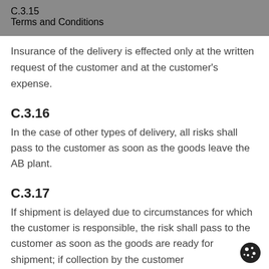Terms and Conditions
Insurance of the delivery is effected only at the written request of the customer and at the customer's expense.
C.3.16
In the case of other types of delivery, all risks shall pass to the customer as soon as the goods leave the AB plant.
C.3.17
If shipment is delayed due to circumstances for which the customer is responsible, the risk shall pass to the customer as soon as the goods are ready for shipment; if collection by the customer